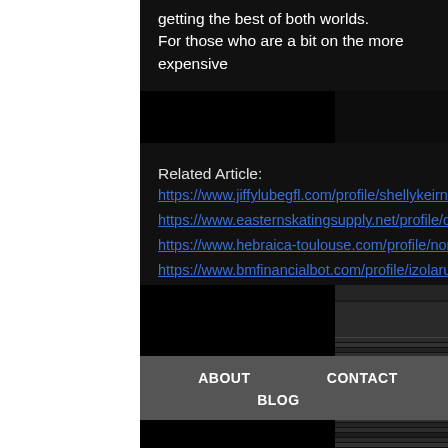getting the best of both worlds.
For those who are a bit on the more expensive
Related Article:
https://www.jiffylubegfl.com/profile/shellykeirnan159204/profile
https://www.easternskatingsupply.net/profile/donnarenfroe151650/profile
https://www.hebraica-toulouse.com/profile/norbertozappulla65392/profile
https://www.bmfinancialbot.com/profile/izolarusser98862/profile
ABOUT   CONTACT   ADVERTISE   SHOP
BLOG   PRIVACY POLICY